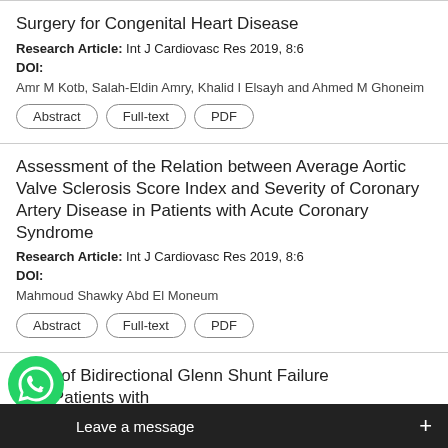Surgery for Congenital Heart Disease
Research Article: Int J Cardiovasc Res 2019, 8:6
DOI:
Amr M Kotb, Salah-Eldin Amry, Khalid I Elsayh and Ahmed M Ghoneim
Assessment of the Relation between Average Aortic Valve Sclerosis Score Index and Severity of Coronary Artery Disease in Patients with Acute Coronary Syndrome
Research Article: Int J Cardiovasc Res 2019, 8:6
DOI:
Mahmoud Shawky Abd El Moneum
ictors of Bidirectional Glenn Shunt Failure te in Patients with Sing
Rese
[Figure (other): WhatsApp chat bubble icon (green circle with phone handset) and dark message bar with text 'Leave a message' and a plus button]